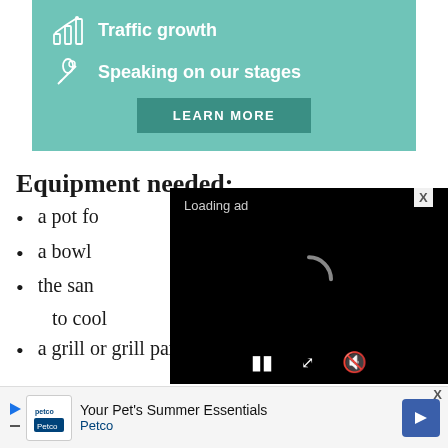[Figure (infographic): Teal promotional banner with two icon+text rows: 'Traffic growth' with bar chart icon, 'Speaking on our stages' with microphone icon, and a 'LEARN MORE' button.]
Equipment needed:
a pot fo[r boiling]
a bowl
the sa[me size bowl for resting it, allowing it] to cool
a grill or grill pan
[Figure (screenshot): Video ad overlay with black background showing 'Loading ad' text and a loading spinner, with playback controls (pause, expand, mute) at the bottom.]
[Figure (infographic): Bottom ad banner for Petco showing 'Your Pet's Summer Essentials' with a navigation arrow icon and a close X button.]